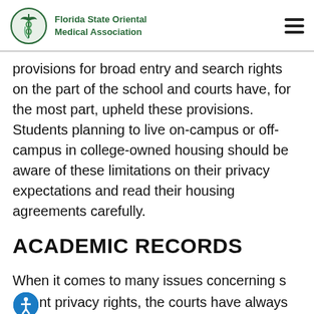Florida State Oriental Medical Association
provisions for broad entry and search rights on the part of the school and courts have, for the most part, upheld these provisions. Students planning to live on-campus or off-campus in college-owned housing should be aware of these limitations on their privacy expectations and read their housing agreements carefully.
ACADEMIC RECORDS
When it comes to many issues concerning student privacy rights, the courts have always approached